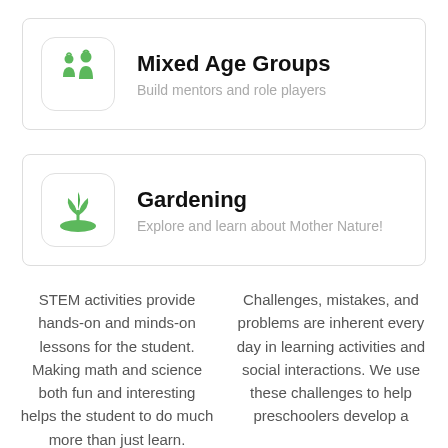[Figure (illustration): Card with green person/mentor icon for Mixed Age Groups]
Mixed Age Groups
Build mentors and role players
[Figure (illustration): Card with green plant/seedling icon for Gardening]
Gardening
Explore and learn about Mother Nature!
STEM activities provide hands-on and minds-on lessons for the student. Making math and science both fun and interesting helps the student to do much more than just learn.
Challenges, mistakes, and problems are inherent every day in learning activities and social interactions. We use these challenges to help preschoolers develop a